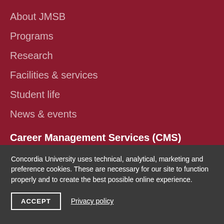About JMSB
Programs
Research
Facilities & services
Student life
News & events
Career Management Services (CMS)
Students
Employers & recruiters
Concordia University uses technical, analytical, marketing and preference cookies. These are necessary for our site to function properly and to create the best possible online experience.
ACCEPT
Privacy policy